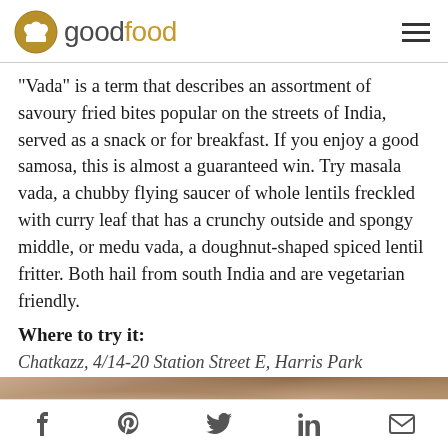goodfood
"Vada" is a term that describes an assortment of savoury fried bites popular on the streets of India, served as a snack or for breakfast. If you enjoy a good samosa, this is almost a guaranteed win. Try masala vada, a chubby flying saucer of whole lentils freckled with curry leaf that has a crunchy outside and spongy middle, or medu vada, a doughnut-shaped spiced lentil fritter. Both hail from south India and are vegetarian friendly.
Where to try it:
Chatkazz, 4/14-20 Station Street E, Harris Park
[Figure (photo): Close-up photo of food, appearing to show fried items on a wooden surface]
f  p  twitter  in  mail